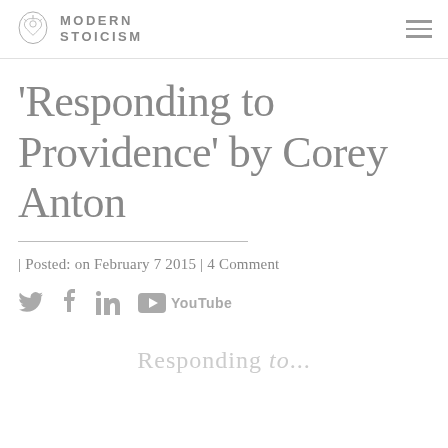MODERN STOICISM
'Responding to Providence' by Corey Anton
| Posted: on February 7 2015 | 4 Comment
[Figure (other): Social media share icons: Twitter bird, Facebook f, LinkedIn in, YouTube play button with YouTube text]
Responding to...